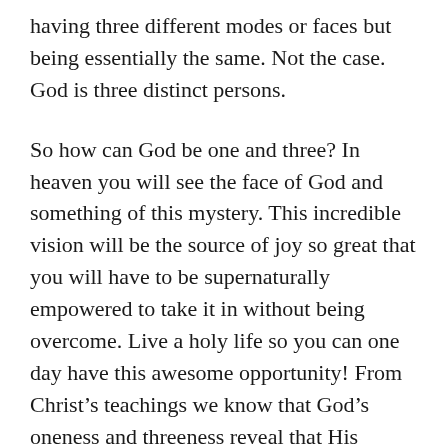having three different modes or faces but being essentially the same. Not the case. God is three distinct persons.
So how can God be one and three? In heaven you will see the face of God and something of this mystery. This incredible vision will be the source of joy so great that you will have to be supernaturally empowered to take it in without being overcome. Live a holy life so you can one day have this awesome opportunity! From Christ's teachings we know that God's oneness and threeness reveal that His essence is one of relationship. God is a relationship of Three Persons. I mentioned in a prior post that when God created us in His image, He created a family. A man and a woman become “one flesh” and a child is born who is both of their nature and yet distinct as well. The union of persons in life-giving love images